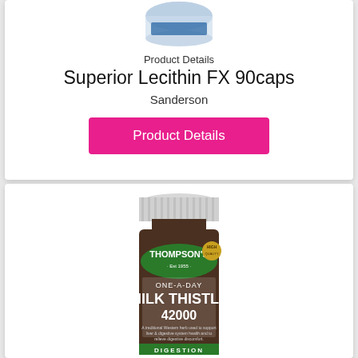Product Details
Superior Lecithin FX 90caps
Sanderson
Product Details
[Figure (photo): Thompson's One-A-Day Milk Thistle 42000 supplement bottle, brown glass bottle with white cap, green label reading THOMPSON'S Est 1955, ONE-A-DAY MILK THISTLE 42000, DIGESTION category label]